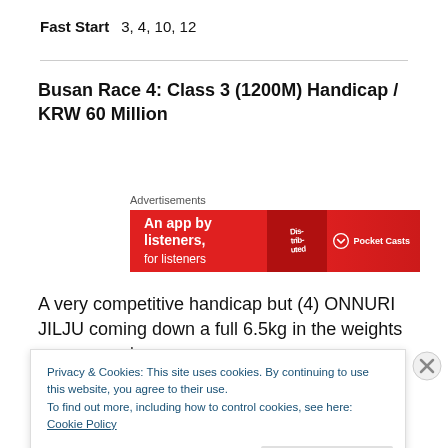Fast Start   3, 4, 10, 12
Busan Race 4: Class 3 (1200M) Handicap / KRW 60 Million
[Figure (other): Advertisement banner for Pocket Casts app — red background with 'An app by listeners, for listeners' text and Pocket Casts logo]
A very competitive handicap but (4) ONNURI JILJU coming down a full 6.5kg in the weights from his 2nd place
Privacy & Cookies: This site uses cookies. By continuing to use this website, you agree to their use.
To find out more, including how to control cookies, see here: Cookie Policy
Close and accept